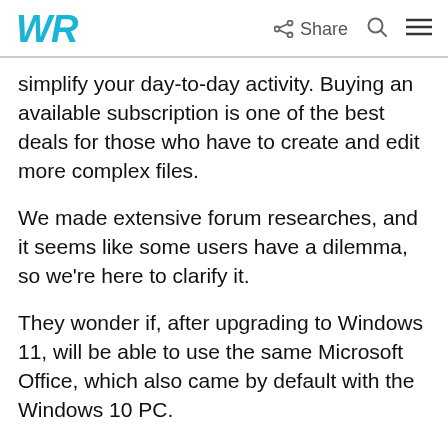WR  Share
simplify your day-to-day activity. Buying an available subscription is one of the best deals for those who have to create and edit more complex files.
We made extensive forum researches, and it seems like some users have a dilemma, so we’re here to clarify it.
They wonder if, after upgrading to Windows 11, will be able to use the same Microsoft Office, which also came by default with the Windows 10 PC.
To find all the answers you can get regarding the Windows 11 Microsoft Office compatibility, make sure you read this article completely.